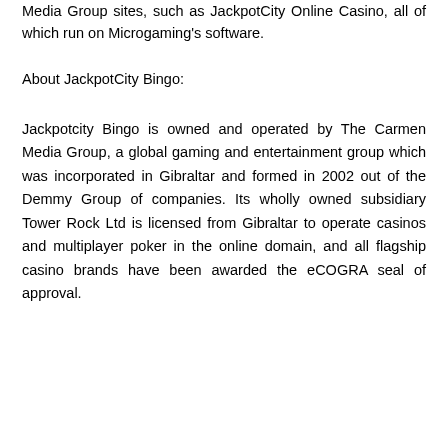Media Group sites, such as JackpotCity Online Casino, all of which run on Microgaming's software.
About JackpotCity Bingo:
Jackpotcity Bingo is owned and operated by The Carmen Media Group, a global gaming and entertainment group which was incorporated in Gibraltar and formed in 2002 out of the Demmy Group of companies. Its wholly owned subsidiary Tower Rock Ltd is licensed from Gibraltar to operate casinos and multiplayer poker in the online domain, and all flagship casino brands have been awarded the eCOGRA seal of approval.